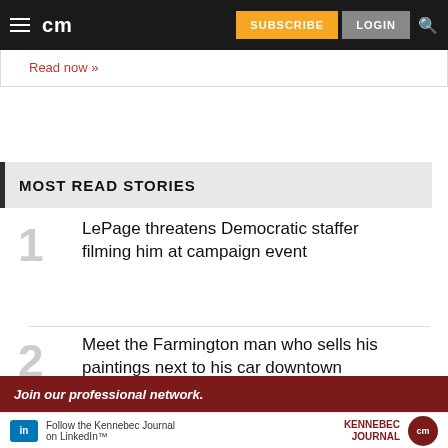cm | SUBSCRIBE | LOGIN
Read now »
MOST READ STORIES
1 LePage threatens Democratic staffer filming him at campaign event
2 Meet the Farmington man who sells his paintings next to his car downtown
3 Skowhegan police charge man over
[Figure (screenshot): Advertisement banner: Join our professional network. Follow the Kennebec Journal on LinkedIn. Kennebec Journal cm logo.]